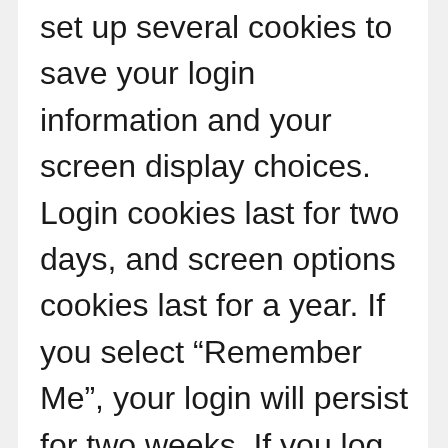set up several cookies to save your login information and your screen display choices. Login cookies last for two days, and screen options cookies last for a year. If you select “Remember Me”, your login will persist for two weeks. If you log out of your account, the login cookies will be removed.